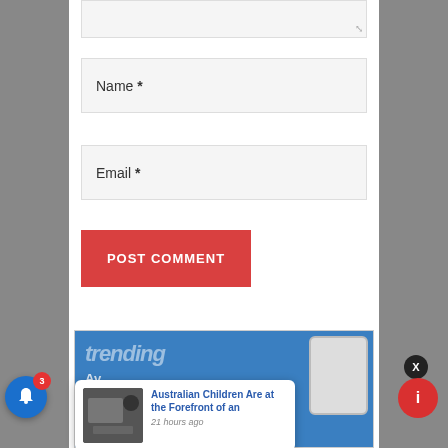[Figure (screenshot): Partial textarea input field with resize handle in bottom-right corner]
Name *
Email *
POST COMMENT
[Figure (screenshot): App advertisement banner with blue background, trending text, Google Play and App Store download buttons, phone image, and 'COMING SOON' text]
[Figure (screenshot): Notification popup showing 'Australian Children Are at the Forefront of an' with timestamp '21 hours ago' and a thumbnail image]
[Figure (screenshot): Close button (X) in dark circle, bell notification icon with badge showing 3, red circle button]